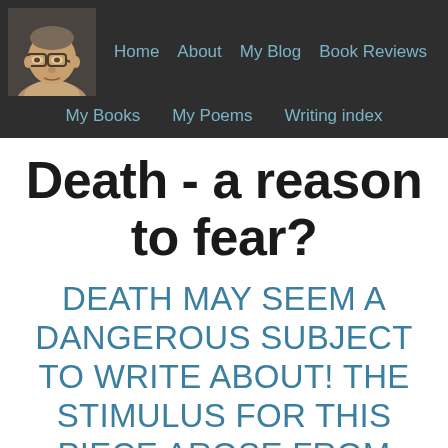Home  About  My Blog  Book Reviews  My Books  My Poems  Writing index
Death - a reason to fear?
DEATH MAY SEEM A DANGEROUS SUBJECT TO WRITE ABOUT! THE STIMULUS FOR THIS PIECE AROSE FROM